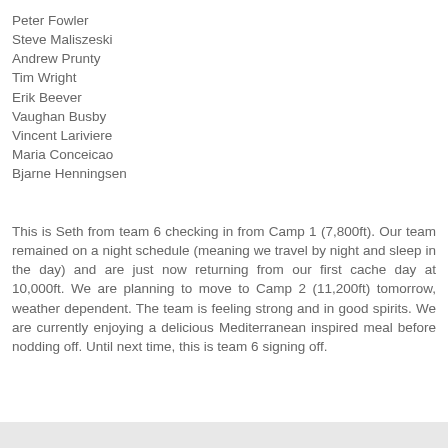Peter Fowler
Steve Maliszeski
Andrew Prunty
Tim Wright
Erik Beever
Vaughan Busby
Vincent Lariviere
Maria Conceicao
Bjarne Henningsen
This is Seth from team 6 checking in from Camp 1 (7,800ft). Our team remained on a night schedule (meaning we travel by night and sleep in the day) and are just now returning from our first cache day at 10,000ft. We are planning to move to Camp 2 (11,200ft) tomorrow, weather dependent. The team is feeling strong and in good spirits. We are currently enjoying a delicious Mediterranean inspired meal before nodding off. Until next time, this is team 6 signing off.